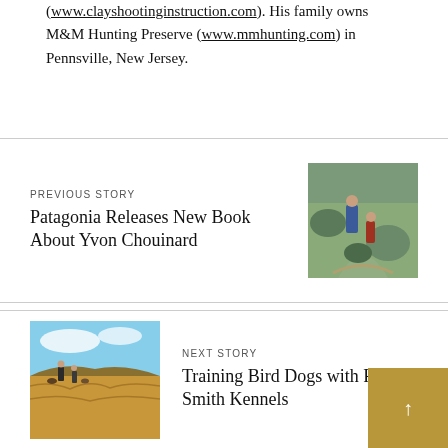(www.clayshootinginstruction.com). His family owns M&M Hunting Preserve (www.mmhunting.com) in Pennsville, New Jersey.
PREVIOUS STORY
Patagonia Releases New Book About Yvon Chouinard
[Figure (photo): Photo of two people on a mountain trail, one adult and one child in red clothing]
NEXT STORY
Training Bird Dogs with Ronnie Smith Kennels
[Figure (photo): Photo of people with dogs in a golden field under a blue sky]